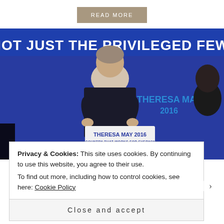READ MORE
[Figure (photo): Theresa May speaking at a podium with 'THERESA MAY 2016 - A COUNTRY THAT WORKS FOR EVERYONE, NOT JUST THE PRIVILEGED FEW' banner visible in the background and on the podium.]
Privacy & Cookies: This site uses cookies. By continuing to use this website, you agree to their use.
To find out more, including how to control cookies, see here: Cookie Policy
Close and accept